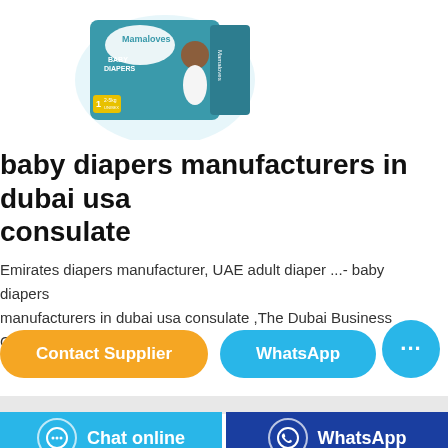[Figure (photo): Mamaloves Baby Diapers product package box showing a baby, size 1 (2-5kg), Unisex]
baby diapers manufacturers in dubai usa consulate
Emirates diapers manufacturer, UAE adult diaper ...- baby diapers manufacturers in dubai usa consulate ,The Dubai Business Guide engine…
[Figure (other): Contact Supplier button (orange rounded) and WhatsApp button (blue rounded) with a floating chat bubble icon]
[Figure (other): Bottom bar with Chat online button (light blue) and WhatsApp button (dark blue)]